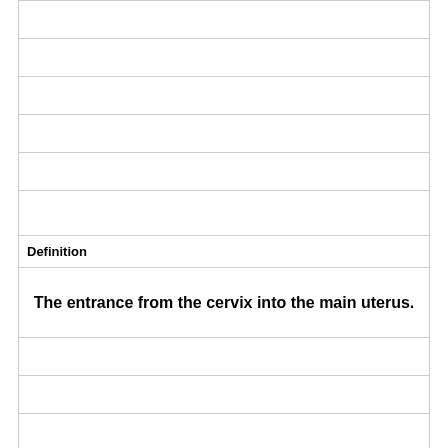|  |
|  |
|  |
|  |
|  |
|  |
| Definition |
| The entrance from the cervix into the main uterus. |
|  |
|  |
|  |
|  |
|  |
|  |
| Term |
|  |